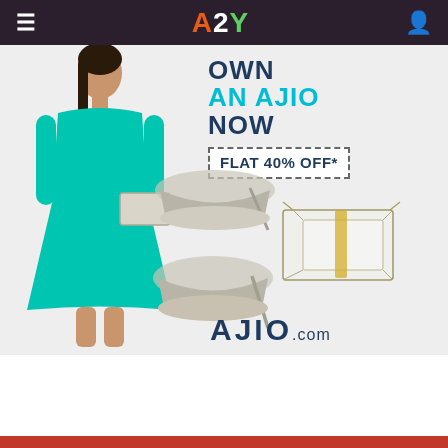A2Y — mobile app navigation bar with hamburger menu and user icon
[Figure (screenshot): A2Y fashion app promotional banner showing a woman in a teal/turquoise dress holding a silver clutch, silver high heels displayed nearby, and a transparent clutch bag, with text 'OWN AN AJIO NOW FLAT 40% OFF*' and AJIO.COM logo]
Red bottom bar